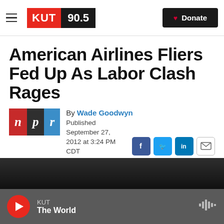KUT 90.5 | Donate
American Airlines Fliers Fed Up As Labor Clash Rages
By Wade Goodwyn
Published September 27, 2012 at 3:24 PM CDT
[Figure (screenshot): NPR logo with colored blocks (red n, dark p, blue r)]
[Figure (infographic): Listen button: play triangle, LISTEN • 0:00]
[Figure (photo): Dark image strip at the bottom of the article area]
KUT | The World (audio player bar with play button and waveform icon)